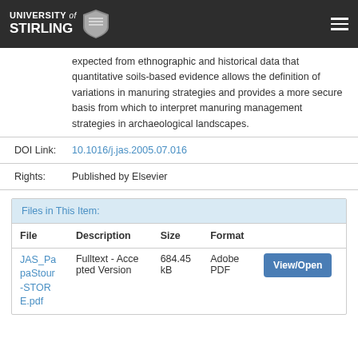UNIVERSITY of STIRLING
expected from ethnographic and historical data that quantitative soils-based evidence allows the definition of variations in manuring strategies and provides a more secure basis from which to interpret manuring management strategies in archaeological landscapes.
DOI Link: 10.1016/j.jas.2005.07.016
Rights: Published by Elsevier
Files in This Item:
| File | Description | Size | Format |
| --- | --- | --- | --- |
| JAS_PapaStour-STORE.pdf | Fulltext - Accepted Version | 684.45 kB | Adobe PDF |